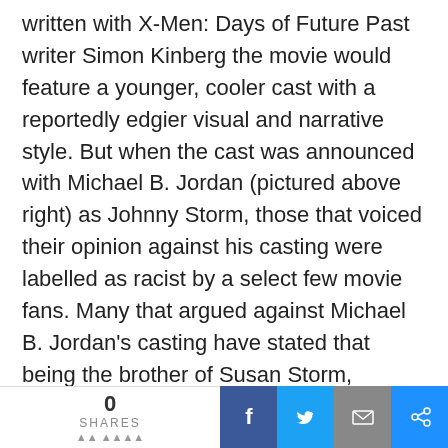written with X-Men: Days of Future Past writer Simon Kinberg the movie would feature a younger, cooler cast with a reportedly edgier visual and narrative style. But when the cast was announced with Michael B. Jordan (pictured above right) as Johnny Storm, those that voiced their opinion against his casting were labelled as racist by a select few movie fans. Many that argued against Michael B. Jordan's casting have stated that being the brother of Susan Storm, portrayed by Kate Mara (pictured above left), the character of Johnny should
0 SHARES | Facebook | Twitter | Email | Link